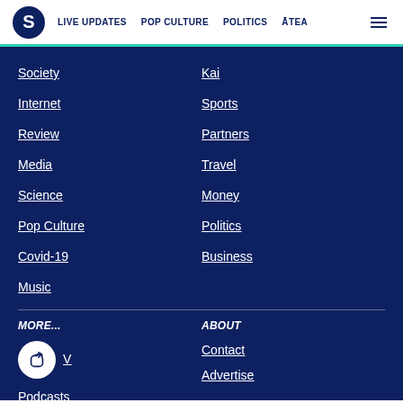S | LIVE UPDATES  POP CULTURE  POLITICS  ĀTEA  ☰
Society
Kai
Internet
Sports
Review
Partners
Media
Travel
Science
Money
Pop Culture
Politics
Covid-19
Business
Music
MORE...
ABOUT
V [share icon]
Contact
Podcasts
Advertise